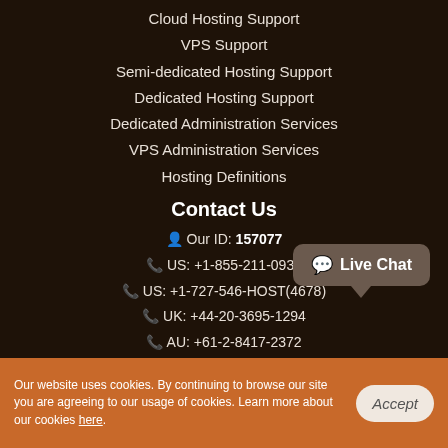Cloud Hosting Support
VPS Support
Semi-dedicated Hosting Support
Dedicated Hosting Support
Dedicated Administration Services
VPS Administration Services
Hosting Definitions
Contact Us
Our ID: 157077
US: +1-855-211-0932
US: +1-727-546-HOST(4678)
UK: +44-20-3695-1294
AU: +61-2-8417-2372
[Figure (other): Live Chat button widget]
Our website uses cookies. By continuing to browse our site you are agreeing to our usage of cookies. Learn more about our cookies here.